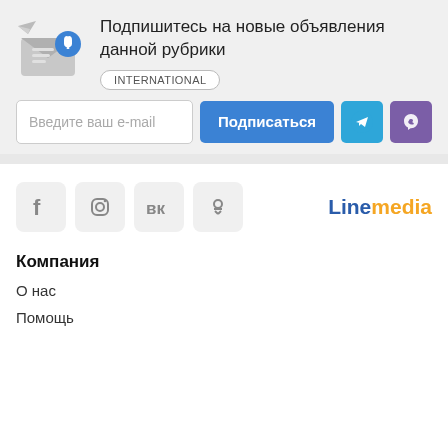Подпишитесь на новые объявления данной рубрики
INTERNATIONAL
[Figure (illustration): Email subscription icon with envelope and notification bell]
Введите ваш e-mail
Подписаться
[Figure (logo): Social media icons: Facebook, Instagram, VK, Odnoklassniki and Linemedia logo]
Компания
О нас
Помощь